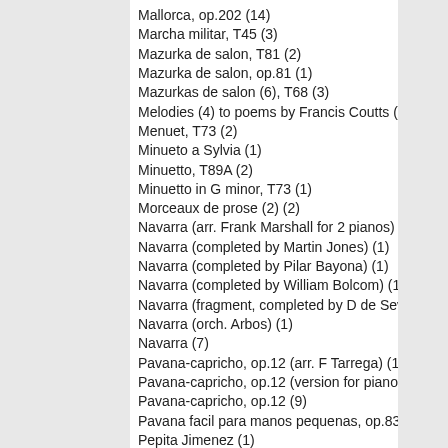Mallorca, op.202 (14)
Marcha militar, T45 (3)
Mazurka de salon, T81 (2)
Mazurka de salon, op.81 (1)
Mazurkas de salon (6), T68 (3)
Melodies (4) to poems by Francis Coutts (2)
Menuet, T73 (2)
Minueto a Sylvia (1)
Minuetto, T89A (2)
Minuetto in G minor, T73 (1)
Morceaux de prose (2) (2)
Navarra (arr. Frank Marshall for 2 pianos) (1)
Navarra (completed by Martin Jones) (1)
Navarra (completed by Pilar Bayona) (1)
Navarra (completed by William Bolcom) (1)
Navarra (fragment, completed by D de Severac) (1)
Navarra (orch. Arbos) (1)
Navarra (7)
Pavana-capricho, op.12 (arr. F Tarrega) (1)
Pavana-capricho, op.12 (version for piano duet) (1)
Pavana-capricho, op.12 (9)
Pavana facil para manos pequenas, op.83 (4)
Pepita Jimenez (1)
» Love moves by night
Pequenos Valses (6), op.25 (3)